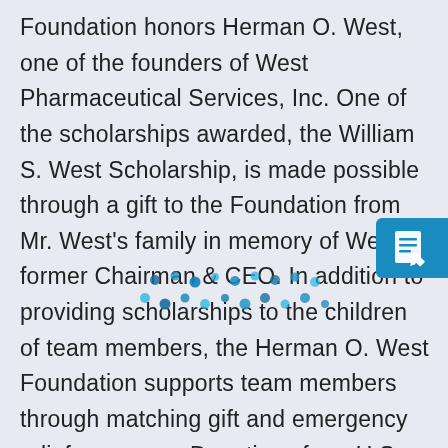Foundation honors Herman O. West, one of the founders of West Pharmaceutical Services, Inc. One of the scholarships awarded, the William S. West Scholarship, is made possible through a gift to the Foundation from Mr. West's family in memory of West's former Chairman & CEO. In addition to providing scholarships to the children of team members, the Herman O. West Foundation supports team members through matching gift and emergency relief programs. Donations from U.S. full-time employees to organizations that hold 501(c)(3) designation are matched by the Foundation up to $1,500 per employee. This year, the Employee Emergency Relief Fund was launched to support employees during times
[Figure (illustration): A teal/blue square icon with a document and pencil/edit symbol]